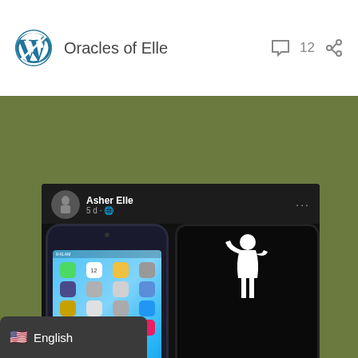Oracles of Elle  12
[Figure (screenshot): Facebook post by Asher Elle showing two phone cases: an iPhone with apps displayed and a black case reading KEEP CALM AND KILL ZOMBIES with zombie silhouette]
Zombie Slayers
🇺🇸 English